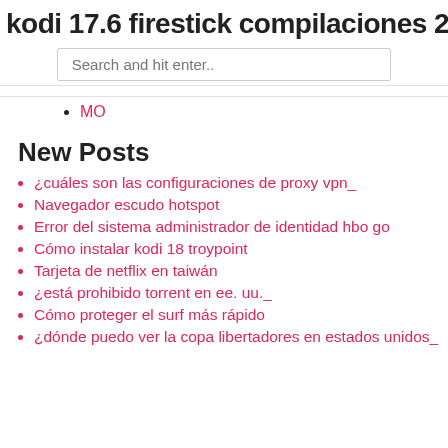kodi 17.6 firestick compilaciones 202…
MO
New Posts
¿cuáles son las configuraciones de proxy vpn_
Navegador escudo hotspot
Error del sistema administrador de identidad hbo go
Cómo instalar kodi 18 troypoint
Tarjeta de netflix en taiwán
¿está prohibido torrent en ee. uu._
Cómo proteger el surf más rápido
¿dónde puedo ver la copa libertadores en estados unidos_